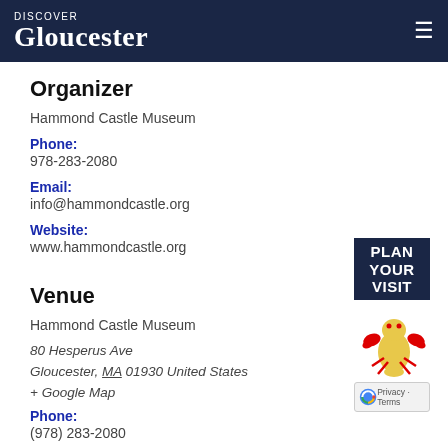Discover Gloucester
Organizer
Hammond Castle Museum
Phone:
978-283-2080
Email:
info@hammondcastle.org
Website:
www.hammondcastle.org
Venue
Hammond Castle Museum
80 Hesperus Ave
Gloucester, MA 01930 United States
+ Google Map
Phone:
(978) 283-2080
[Figure (illustration): Plan Your Visit banner with lobster mascot and reCAPTCHA badge]